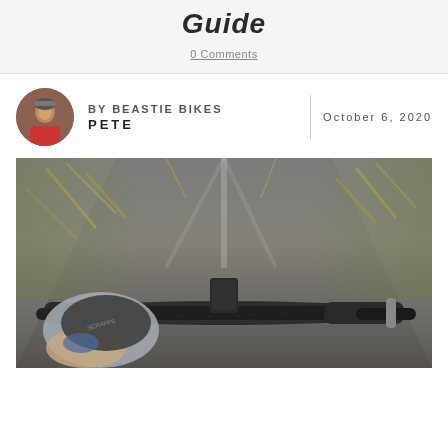Guide
0 Comments
BY BEASTIE BIKES PETE
October 6, 2020
[Figure (photo): First-person view from a cyclist riding fast on a road, showing handlebars with cycling gloves and blurred background from motion.]